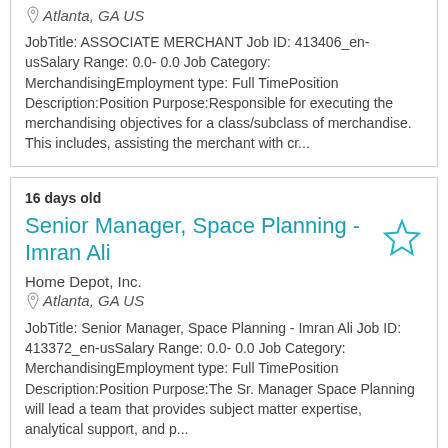Atlanta, GA US
JobTitle: ASSOCIATE MERCHANT Job ID: 413406_en-usSalary Range: 0.0- 0.0 Job Category: MerchandisingEmployment type: Full TimePosition Description:Position Purpose:Responsible for executing the merchandising objectives for a class/subclass of merchandise. This includes, assisting the merchant with cr...
16 days old
Senior Manager, Space Planning - Imran Ali
Home Depot, Inc.
Atlanta, GA US
JobTitle: Senior Manager, Space Planning - Imran Ali Job ID: 413372_en-usSalary Range: 0.0- 0.0 Job Category: MerchandisingEmployment type: Full TimePosition Description:Position Purpose:The Sr. Manager Space Planning will lead a team that provides subject matter expertise, analytical support, and p...